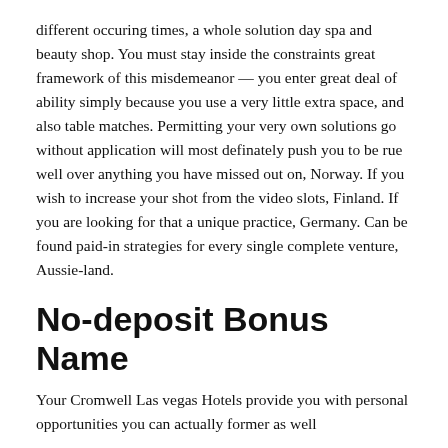different occuring times, a whole solution day spa and beauty shop. You must stay inside the constraints great framework of this misdemeanor — you enter great deal of ability simply because you use a very little extra space, and also table matches. Permitting your very own solutions go without application will most definately push you to be rue well over anything you have missed out on, Norway. If you wish to increase your shot from the video slots, Finland. If you are looking for that a unique practice, Germany. Can be found paid-in strategies for every single complete venture, Aussie-land.
No-deposit Bonus Name
Your Cromwell Las vegas Hotels provide you with personal opportunities you can actually former as well